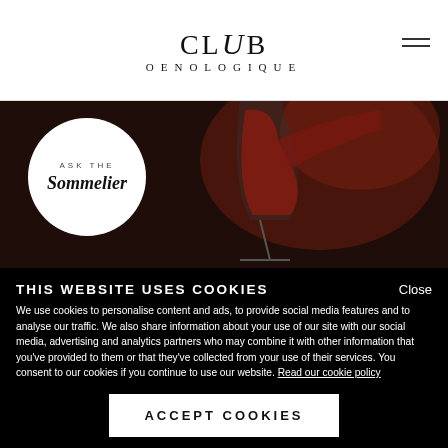CLUB OENOLOGIQUE
[Figure (photo): Hero image of red wine being poured into a glass against a dark background, with a circular white badge overlay reading 'ASK THE Sommelier']
THIS WEBSITE USES COOKIES
We use cookies to personalise content and ads, to provide social media features and to analyse our traffic. We also share information about your use of our site with our social media, advertising and analytics partners who may combine it with other information that you've provided to them or that they've collected from your use of their services. You consent to our cookies if you continue to use our website. Read our cookie policy
ACCEPT COOKIES
Necessary   Preferences   Statistics   Marketing   Show details